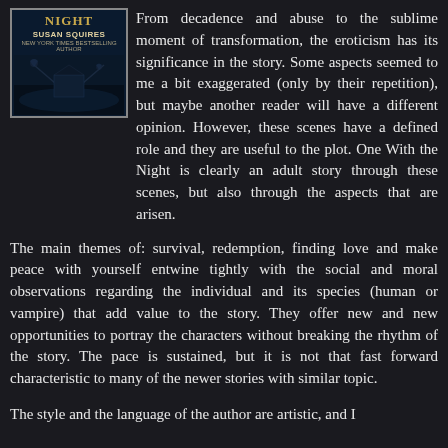[Figure (photo): Book cover of 'One With the Night' by Susan Squires, New York Times Bestselling Author, showing a dark gothic nighttime scene]
From decadence and abuse to the sublime moment of transformation, the eroticism has its significance in the story. Some aspects seemed to me a bit exaggerated (only by their repetition), but maybe another reader will have a different opinion. However, these scenes have a defined role and they are useful to the plot. One With the Night is clearly an adult story through these scenes, but also through the aspects that are arisen.
The main themes of: survival, redemption, finding love and make peace with yourself entwine tightly with the social and moral observations regarding the individual and its species (human or vampire) that add value to the story. They offer new and new opportunities to portray the characters without breaking the rhythm of the story. The pace is sustained, but it is not that fast forward characteristic to many of the newer stories with similar topic.
The style and the language of the author are artistic, and I